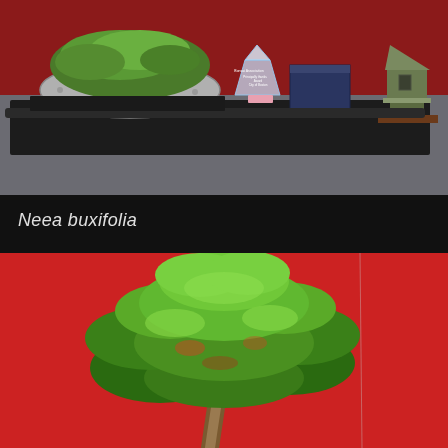[Figure (photo): Bonsai display table with a moss-covered bonsai tree in a shallow grey pot on a black mat, a crystal award trophy in the center, a dark blue box, and a bronze miniature pagoda/lantern on a wooden stand, all on a grey fabric surface with a red backdrop.]
Neea buxifolia
[Figure (photo): Close-up of a Neea buxifolia bonsai tree with dense bright green foliage forming a rounded triangular canopy, displayed against a vivid red backdrop.]